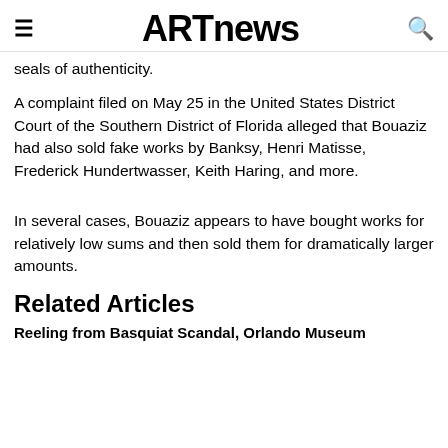≡  ARTnews  🔍
seals of authenticity.
A complaint filed on May 25 in the United States District Court of the Southern District of Florida alleged that Bouaziz had also sold fake works by Banksy, Henri Matisse, Frederick Hundertwasser, Keith Haring, and more.
In several cases, Bouaziz appears to have bought works for relatively low sums and then sold them for dramatically larger amounts.
Related Articles
Reeling from Basquiat Scandal, Orlando Museum